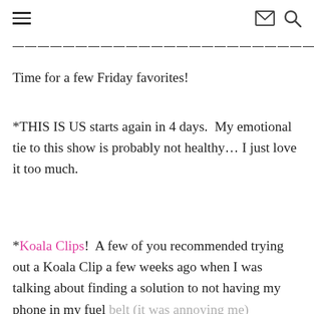≡  ✉ 🔍
——————————————————————————————————
Time for a few Friday favorites!
*THIS IS US starts again in 4 days.  My emotional tie to this show is probably not healthy… I just love it too much.
*Koala Clips!  A few of you recommended trying out a Koala Clip a few weeks ago when I was talking about finding a solution to not having my phone in my fuel belt (it was annoying me) anymore.  I was excited to try
belt (it was annoying me) anymore.  I was excited to try